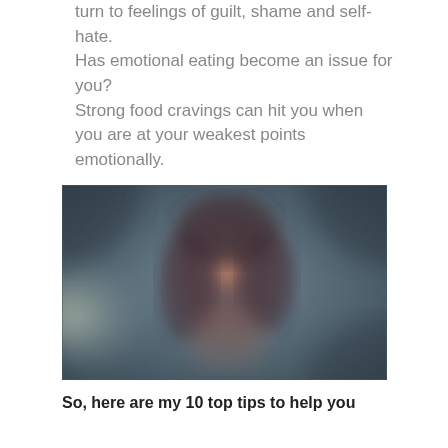turn to feelings of guilt, shame and self-hate.
Has emotional eating become an issue for you?
Strong food cravings can hit you when you are at your weakest points emotionally.
[Figure (photo): A blurry, soft-focus photo of a person's face against a muted blue-grey background with warm tones in the center.]
So, here are my 10 top tips to help you